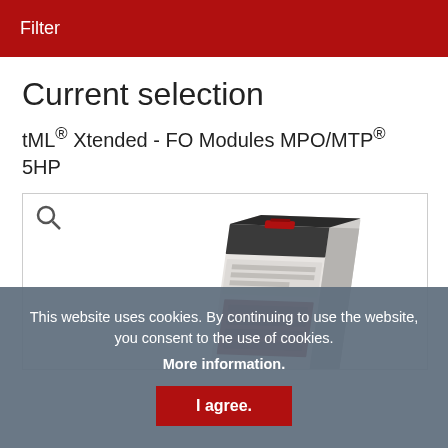Filter
Current selection
tML® Xtended - FO Modules MPO/MTP® 5HP
[Figure (photo): Photo of tML Xtended FO Module MPO/MTP 5HP hardware component — a slim rack-mounted fiber optic module with red connectors, shown at an angle. A magnifying glass/search icon appears in the top-left corner of the image box.]
This website uses cookies. By continuing to use the website, you consent to the use of cookies.
More information.
I agree.